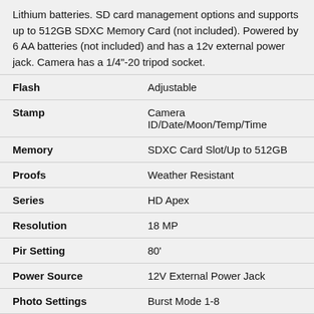Lithium batteries. SD card management options and supports up to 512GB SDXC Memory Card (not included). Powered by 6 AA batteries (not included) and has a 12v external power jack. Camera has a 1/4"-20 tripod socket.
| Feature | Value |
| --- | --- |
| Flash | Adjustable |
| Stamp | Camera ID/Date/Moon/Temp/Time |
| Memory | SDXC Card Slot/Up to 512GB |
| Proofs | Weather Resistant |
| Series | HD Apex |
| Resolution | 18 MP |
| Pir Setting | 80' |
| Power Source | 12V External Power Jack |
| Photo Settings | Burst Mode 1-8 |
| Video Settings | 1600x900p HD+ |